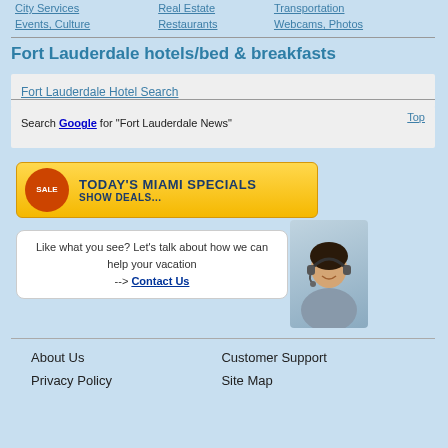| City Services | Real Estate | Transportation |
| Events, Culture | Restaurants | Webcams, Photos |
Fort Lauderdale hotels/bed & breakfasts
Fort Lauderdale Hotel Search
Search Google for "Fort Lauderdale News"
[Figure (infographic): Today's Miami Specials - Show Deals banner with sale tag]
Like what you see? Let's talk about how we can help your vacation --> Contact Us
[Figure (photo): Woman with headset smiling]
| About Us | Customer Support |
| Privacy Policy | Site Map |